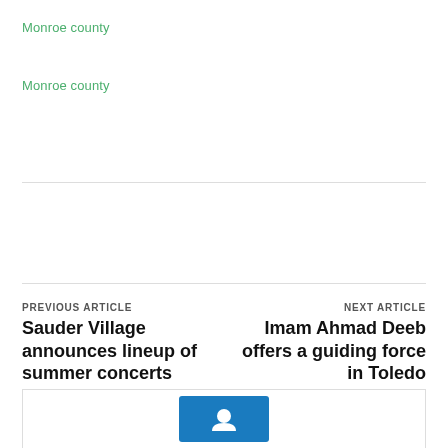Monroe county
Monroe county
PREVIOUS ARTICLE
Sauder Village announces lineup of summer concerts
NEXT ARTICLE
Imam Ahmad Deeb offers a guiding force in Toledo
[Figure (logo): Blue logo/icon at bottom of page]